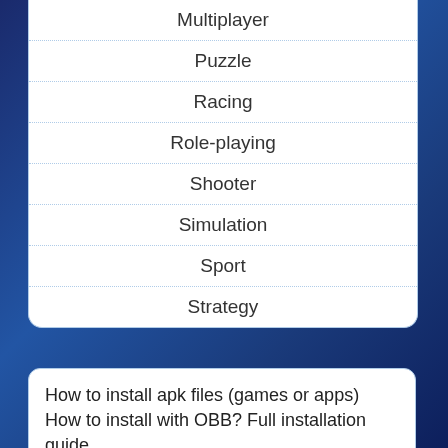Multiplayer
Puzzle
Racing
Role-playing
Shooter
Simulation
Sport
Strategy
How to install apk files (games or apps) How to install with OBB? Full installation guide